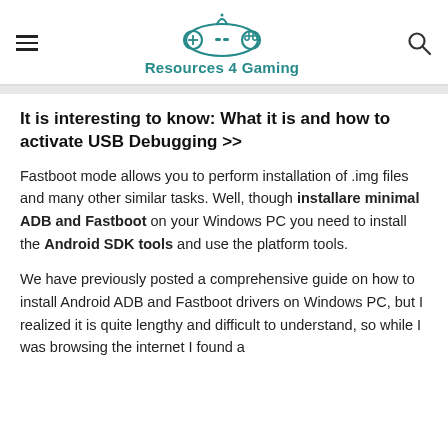Resources 4 Gaming
It is interesting to know: What it is and how to activate USB Debugging >>
Fastboot mode allows you to perform installation of .img files and many other similar tasks. Well, though installare minimal ADB and Fastboot on your Windows PC you need to install the Android SDK tools and use the platform tools.
We have previously posted a comprehensive guide on how to install Android ADB and Fastboot drivers on Windows PC, but I realized it is quite lengthy and difficult to understand, so while I was browsing the internet I found a